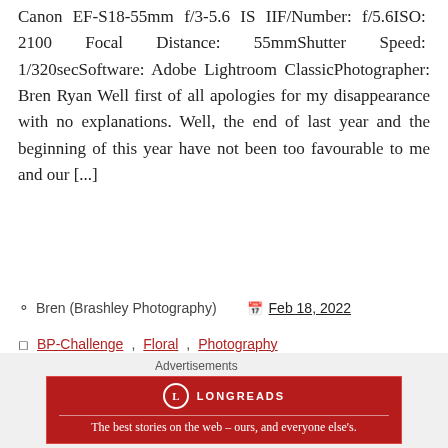Canon EF-S18-55mm f/3-5.6 IS IIF/Number: f/5.6ISO: 2100 Focal Distance: 55mmShutter Speed: 1/320secSoftware: Adobe Lightroom ClassicPhotographer: Bren Ryan Well first of all apologies for my disappearance with no explanations. Well, the end of last year and the beginning of this year have not been too favourable to me and our [...]
Bren (Brashley Photography)   Feb 18, 2022
BP-Challenge, Floral, Photography
FF, Floral, Floral Friday, Floral Photography, Flower, Flower of the Day, Rose, Walmer Castle
Advertisements
[Figure (other): Longreads advertisement banner: red background with Longreads logo and tagline 'The best stories on the web – ours, and everyone else's.']